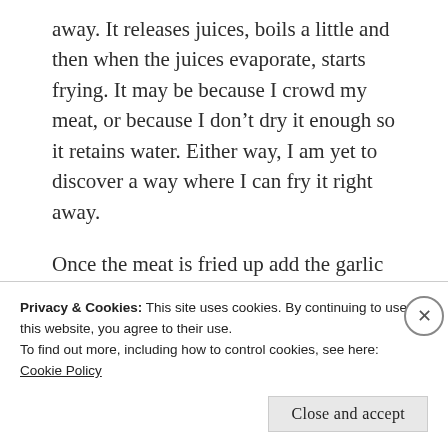away. It releases juices, boils a little and then when the juices evaporate, starts frying. It may be because I crowd my meat, or because I don't dry it enough so it retains water. Either way, I am yet to discover a way where I can fry it right away.
Once the meat is fried up add the garlic and onion and sauté until the onions soften.
Once done, add about 1 cup of water and let the mixture simmer for about 40 minutes on
Privacy & Cookies: This site uses cookies. By continuing to use this website, you agree to their use.
To find out more, including how to control cookies, see here: Cookie Policy
Close and accept